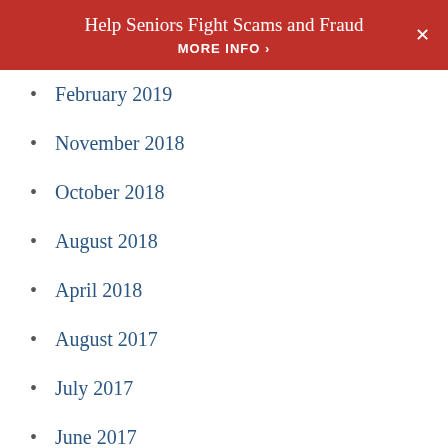Help Seniors Fight Scams and Fraud MORE INFO >
February 2019
November 2018
October 2018
August 2018
April 2018
August 2017
July 2017
June 2017
April 2017